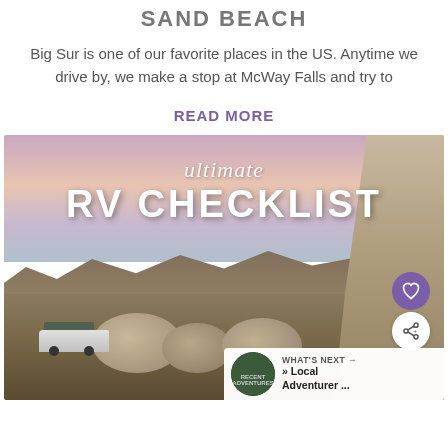SAND BEACH
Big Sur is one of our favorite places in the US. Anytime we drive by, we make a stop at McWay Falls and try to
READ MORE
[Figure (photo): Desert landscape at sunset/dusk with pink and purple sky, mountains in background, large boulders and rock formations, an Airstream trailer in lower left, Joshua trees and shrubs. Overlaid text reads 'ultimate RV CHECKLIST' in white. Heart and share buttons visible on the right. A 'What's Next' bar at the bottom right shows a thumbnail and text '» Local Adventurer ...']